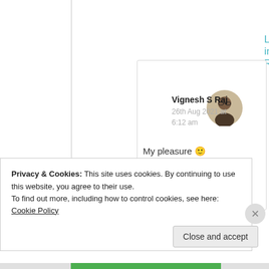Log in to Reply
[Figure (photo): Profile photo of Vignesh S Raj — person with glasses in a circular avatar]
Vignesh S Raj
26th Aug 2021 at 6:12 am
My pleasure 🙂
★ Like
Privacy & Cookies: This site uses cookies. By continuing to use this website, you agree to their use.
To find out more, including how to control cookies, see here: Cookie Policy
Close and accept